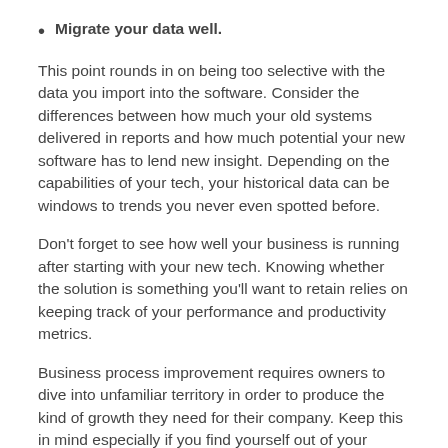Migrate your data well.
This point rounds in on being too selective with the data you import into the software. Consider the differences between how much your old systems delivered in reports and how much potential your new software has to lend new insight. Depending on the capabilities of your tech, your historical data can be windows to trends you never even spotted before.
Don't forget to see how well your business is running after starting with your new tech. Knowing whether the solution is something you'll want to retain relies on keeping track of your performance and productivity metrics.
Business process improvement requires owners to dive into unfamiliar territory in order to produce the kind of growth they need for their company. Keep this in mind especially if you find yourself out of your comfort zone during the first two to three months of implementation.